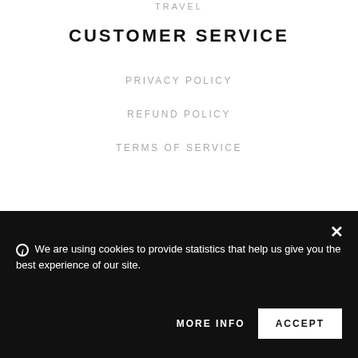TRAVEL
CUSTOMER SERVICE
PRIVACY POLICY
REFUND POLICY
TERMS OF SERVICE
We are using cookies to provide statistics that help us give you the best experience of our site.
MORE INFO
ACCEPT